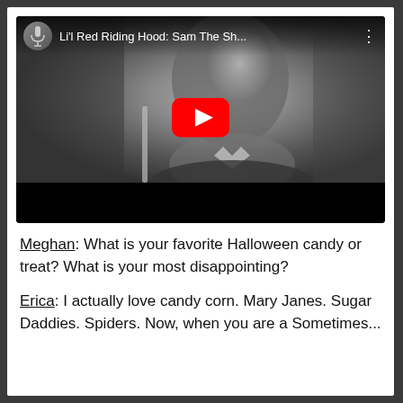[Figure (screenshot): YouTube video embed showing 'Li'l Red Riding Hood: Sam The Sh...' with a black and white photo of a bearded man singing into a microphone, a red YouTube play button in the center, channel icon in top-left, three-dot menu in top-right, and a black bottom bar.]
Meghan: What is your favorite Halloween candy or treat? What is your most disappointing?
Erica: I actually love candy corn. Mary Janes. Sugar Daddies. Spiders. Now, when you are a Sometimes...